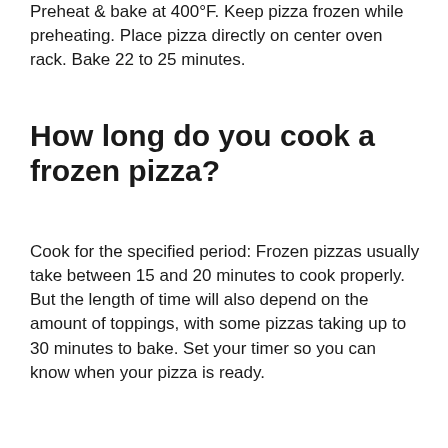Preheat & bake at 400°F. Keep pizza frozen while preheating. Place pizza directly on center oven rack. Bake 22 to 25 minutes.
How long do you cook a frozen pizza?
Cook for the specified period: Frozen pizzas usually take between 15 and 20 minutes to cook properly. But the length of time will also depend on the amount of toppings, with some pizzas taking up to 30 minutes to bake. Set your timer so you can know when your pizza is ready.